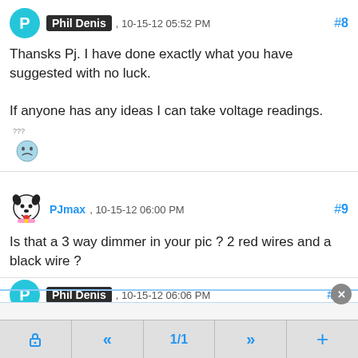Phil Denis , 10-15-12 05:52 PM #8
Thansks Pj. I have done exactly what you have suggested with no luck.

If anyone has any ideas I can take voltage readings.
[Figure (illustration): Confused/sad emoji with question marks above]
PJmax , 10-15-12 06:00 PM #9
[Figure (illustration): PJmax cartoon avatar - black and white dog/wolf character]
Is that a 3 way dimmer in your pic ? 2 red wires and a black wire ?
Phil Denis , 10-15-12 06:06 PM #10
lock  <<  1/1  >>  +